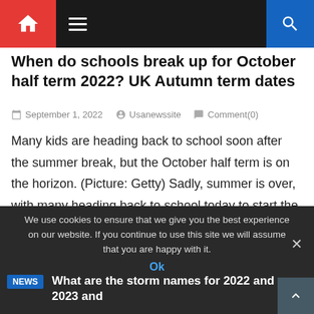Navigation bar with home icon, hamburger menu, and search icon
When do schools break up for October half term 2022? UK Autumn term dates
September 1, 2022   Usanewssite   Comment(0)
Many kids are heading back to school soon after the summer break, but the October half term is on the horizon. (Picture: Getty) Sadly, summer is over, with many heading back to school today to start the next academic year. As the kids return to class, now is often the time that the calendar comes [...]
We use cookies to ensure that we give you the best experience on our website. If you continue to use this site we will assume that you are happy with it.
Ok
What are the storm names for 2022 and 2023 and what are storm name rules?